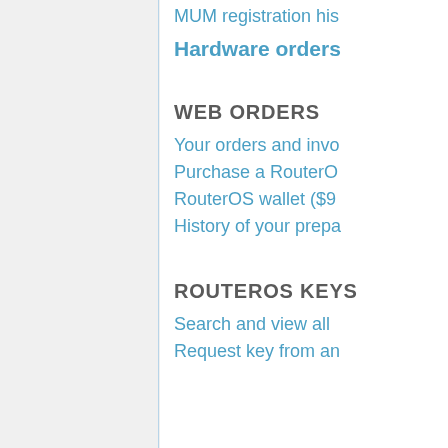MUM registration his
Hardware orders
WEB ORDERS
Your orders and invo
Purchase a RouterO
RouterOS wallet ($9
History of your prepa
ROUTEROS KEYS
Search and view all
Request key from an